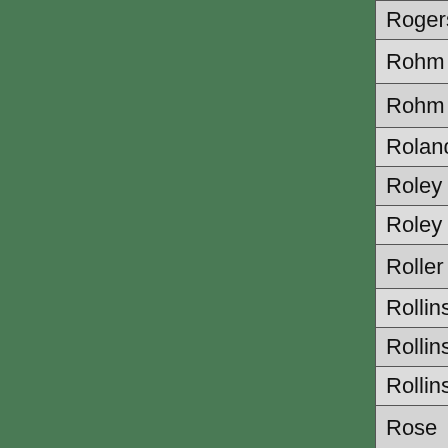| Last Name | First Name | Year | Vol |
| --- | --- | --- | --- |
| Rogers | Gideon | 1884 | 1 |
| Rohm | Addison P. | 1887 | 1 |
| Rohm | John G. | 1886 | 16 |
| Roland | John | 1871 | 50 |
| Roley | John | 1868 | 2 |
| Roley | John A. | 1864 | 2 |
| Roller | Jonathan | 1864 | 2 |
| Rollins | Elizabeth | 1863 | 2 |
| Rollins | John W. | 1864 | 11 |
| Rollins | Mary | 1894 | 11 |
| Rose | Arthur | 1869 | 2 |
| Rose | George | 1884 | 6 |
| Rose | George W. | 1886 | 2 |
| Rose | Henry | 1897 | 6 |